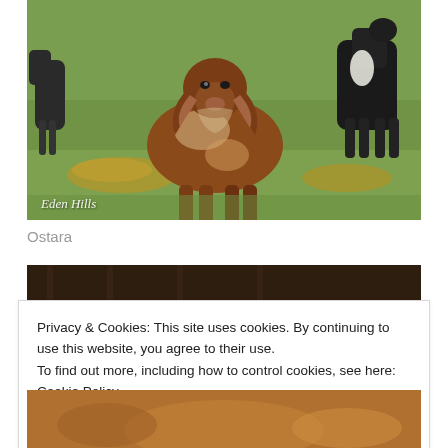[Figure (photo): A brown and white Nubian goat kid standing on green grass in a field, with other goats and hay visible in the background. Watermark reads 'Eden Hills' in italic script at the bottom left.]
Ostara
[Figure (photo): Partial view of a goat photo below the caption, showing a dark background (fence/enclosure area), cut off by the cookie consent banner.]
Privacy & Cookies: This site uses cookies. By continuing to use this website, you agree to their use.
To find out more, including how to control cookies, see here: Cookie Policy
[Figure (photo): Partial view of another goat photo at the bottom of the page, showing brown/reddish tones, partially obscured by the cookie banner.]